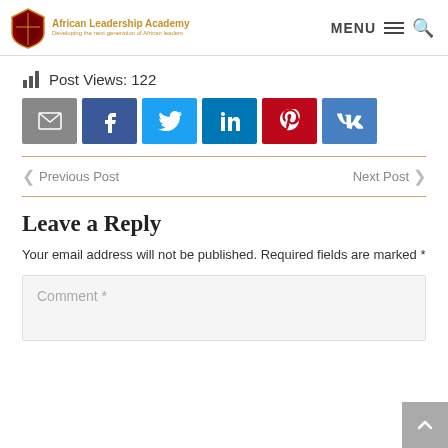African Leadership Academy — Developing the next generation of African leaders | MENU
Post Views: 122
[Figure (other): Social share buttons: Email (grey), Facebook (blue), Twitter (light blue), LinkedIn (dark blue), Pinterest (red), VK (blue)]
Previous Post   Next Post
Leave a Reply
Your email address will not be published. Required fields are marked *
Comment *